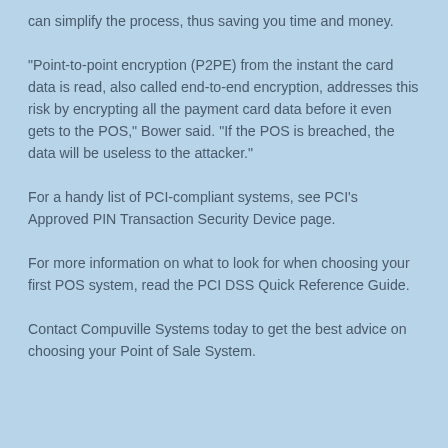can simplify the process, thus saving you time and money.
“Point-to-point encryption (P2PE) from the instant the card data is read, also called end-to-end encryption, addresses this risk by encrypting all the payment card data before it even gets to the POS,” Bower said. “If the POS is breached, the data will be useless to the attacker.”
For a handy list of PCI-compliant systems, see PCI’s Approved PIN Transaction Security Device page.
For more information on what to look for when choosing your first POS system, read the PCI DSS Quick Reference Guide.
Contact Compuville Systems today to get the best advice on choosing your Point of Sale System.